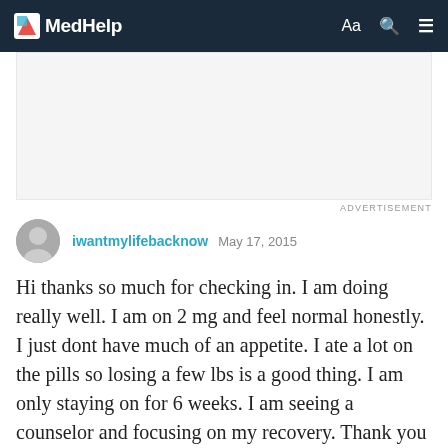MedHelp
[Figure (other): Advertisement placeholder banner area]
ADVERTISEMENT
iwantmylifebacknow May 17, 2015
Hi thanks so much for checking in. I am doing really well. I am on 2 mg and feel normal honestly. I just dont have much of an appetite. I ate a lot on the pills so losing a few lbs is a good thing. I am only staying on for 6 weeks. I am seeing a counselor and focusing on my recovery. Thank you so much again for your advice and support. How are you feeling?